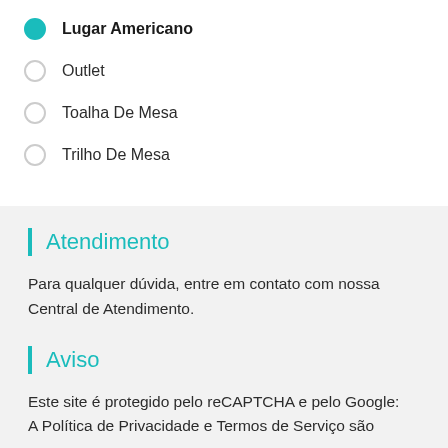Lugar Americano (selected)
Outlet
Toalha De Mesa
Trilho De Mesa
Atendimento
Para qualquer dúvida, entre em contato com nossa Central de Atendimento.
Aviso
Este site é protegido pelo reCAPTCHA e pelo Google: A Política de Privacidade e Termos de Serviço são